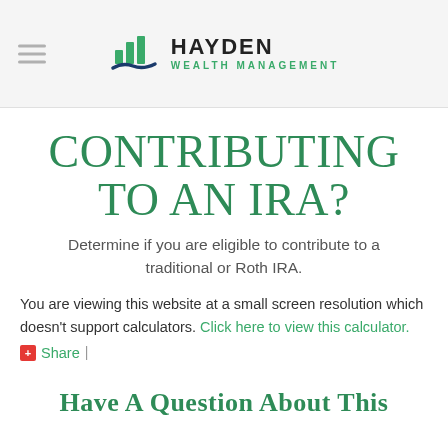[Figure (logo): Hayden Wealth Management logo with green bar chart icon and blue wave, text HAYDEN WEALTH MANAGEMENT]
CONTRIBUTING TO AN IRA?
Determine if you are eligible to contribute to a traditional or Roth IRA.
You are viewing this website at a small screen resolution which doesn't support calculators. Click here to view this calculator.
Share |
Have A Question About This